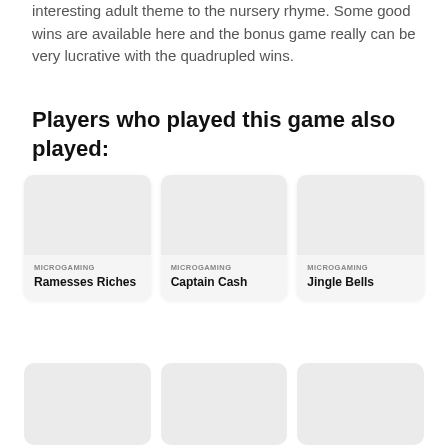interesting adult theme to the nursery rhyme. Some good wins are available here and the bonus game really can be very lucrative with the quadrupled wins.
Players who played this game also played:
[Figure (other): Game card for Ramesses Riches by Microgaming with a light grey placeholder image]
[Figure (other): Game card for Captain Cash by Microgaming with a light grey placeholder image]
[Figure (other): Game card for Jingle Bells by Microgaming with a light grey placeholder image]
[Figure (other): Three partial game cards (second row) with light grey placeholder images, partially visible at bottom]
MICROGAMING Ramesses Riches
MICROGAMING Captain Cash
MICROGAMING Jingle Bells